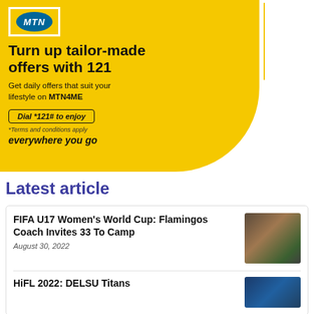[Figure (advertisement): MTN advertisement with yellow background and oval shape. MTN logo in blue oval. Headline: Turn up tailor-made offers with 121. Subtext: Get daily offers that suit your lifestyle on MTN4ME. Call to action: Dial *121# to enjoy. Terms and conditions apply everywhere you go.]
Latest article
FIFA U17 Women's World Cup: Flamingos Coach Invites 33 To Camp
August 30, 2022
[Figure (photo): Photo of a person, likely a football coach, at a stadium]
HiFL 2022: DELSU Titans